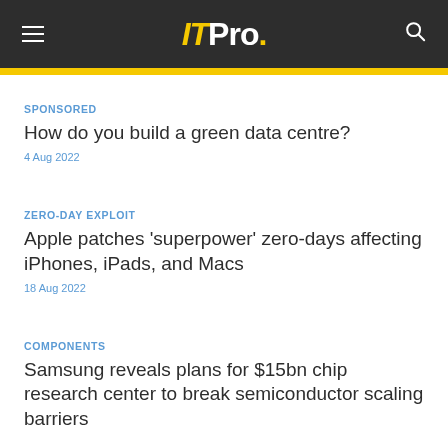ITPro.
SPONSORED
How do you build a green data centre?
4 Aug 2022
ZERO-DAY EXPLOIT
Apple patches 'superpower' zero-days affecting iPhones, iPads, and Macs
18 Aug 2022
COMPONENTS
Samsung reveals plans for $15bn chip research center to break semiconductor scaling barriers